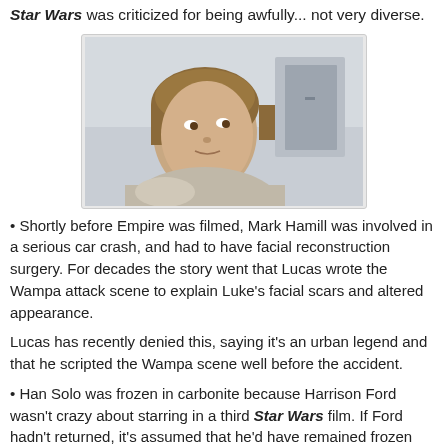Star Wars was criticized for being awfully... not very diverse.
[Figure (photo): Young Mark Hamill as Luke Skywalker in Star Wars, looking over his shoulder in a white interior setting.]
Shortly before Empire was filmed, Mark Hamill was involved in a serious car crash, and had to have facial reconstruction surgery. For decades the story went that Lucas wrote the Wampa attack scene to explain Luke's facial scars and altered appearance.
Lucas has recently denied this, saying it's an urban legend and that he scripted the Wampa scene well before the accident.
Han Solo was frozen in carbonite because Harrison Ford wasn't crazy about starring in a third Star Wars film. If Ford hadn't returned, it's assumed that he'd have remained frozen